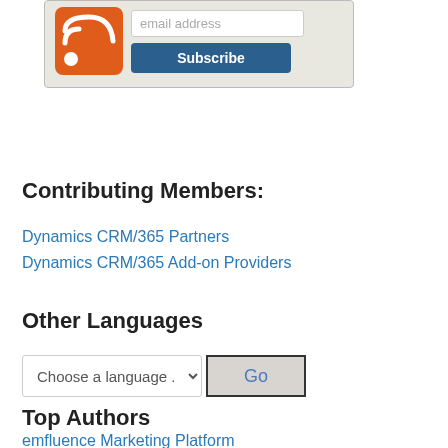[Figure (screenshot): RSS feed subscribe widget with orange RSS icon, email address input field, and blue Subscribe button, inside a grey rounded box]
Contributing Members:
Dynamics CRM/365 Partners
Dynamics CRM/365 Add-on Providers
Other Languages
[Figure (screenshot): Language selector dropdown reading 'Choose a language ...' and a Go button]
Top Authors
emfluence Marketing Platform
Boringer Technology Group